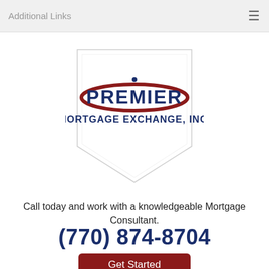Additional Links
[Figure (logo): Premier Mortgage Exchange, Inc. logo inside a shield/badge shape. Features a dark red oval swoosh with 'PREMIER' in dark navy blue large text, and 'MORTGAGE EXCHANGE, INC.' below in navy blue smaller text, with a small dot above the 'I' in PREMIER.]
Call today and work with a knowledgeable Mortgage Consultant.
(770) 874-8704
Get Started
Main Menu
You are here: Home / Privacy Policy